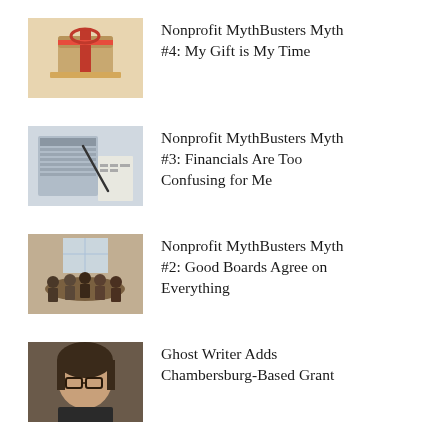[Figure (photo): Thumbnail photo of a gift box with red ribbon held in hands]
Nonprofit MythBusters Myth #4: My Gift is My Time
[Figure (photo): Thumbnail photo of a calculator and financial documents with a pen]
Nonprofit MythBusters Myth #3: Financials Are Too Confusing for Me
[Figure (photo): Thumbnail photo of a board meeting around a table in a room with large windows]
Nonprofit MythBusters Myth #2: Good Boards Agree on Everything
[Figure (photo): Thumbnail portrait photo of a woman with glasses]
Ghost Writer Adds Chambersburg-Based Grant